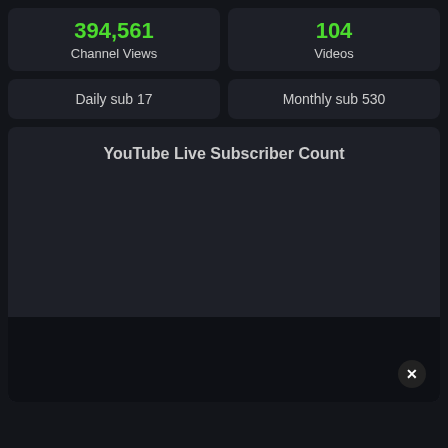394,561 Channel Views
104 Videos
Daily sub 17
Monthly sub 530
YouTube Live Subscriber Count
12 009
[Figure (line-chart): Line chart showing YouTube live subscriber count. A horizontal baseline is visible at approximately 12,009 subscribers. The chart area is mostly empty/dark indicating minimal data range shown.]